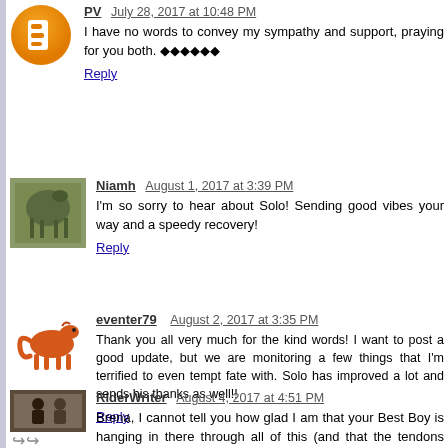[Figure (illustration): Orange/yellow circular Blogger avatar icon for user PV]
PV  July 28, 2017 at 10:48 PM
I have no words to convey my sympathy and support, praying for you both. ❤❤❤❤❤❤
Reply
[Figure (photo): Small square photo of a person on horseback, profile avatar for user Niamh]
Niamh  August 1, 2017 at 3:39 PM
I'm so sorry to hear about Solo! Sending good vibes your way and a speedy recovery!
Reply
[Figure (illustration): Orange horse/animal logo avatar for user eventer79]
eventer79  August 2, 2017 at 3:35 PM
Thank you all very much for the kind words! I want to post a good update, but we are monitoring a few things that I'm terrified to even tempt fate with. Solo has improved a lot and sends his thanks as well!!
Reply
[Figure (photo): Small square photo avatar for user RiderWriter with a share/forward arrow icon below]
RiderWriter  August 4, 2017 at 4:51 PM
Brena, I cannot tell you how glad I am that your Best Boy is hanging in there through all of this (and that the tendons healed, too). I was a stalker too and just glad to hear from you at all! You have a loyal fan group here who truly care about you and...